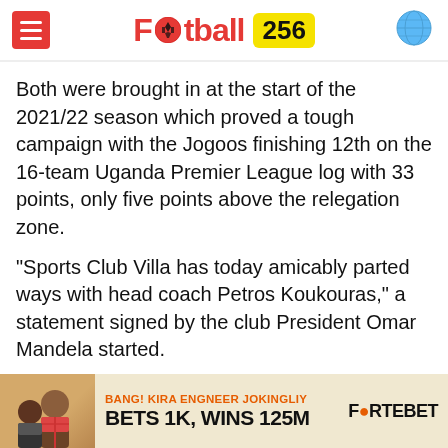Football 256
Both were brought in at the start of the 2021/22 season which proved a tough campaign with the Jogoos finishing 12th on the 16-team Uganda Premier League log with 33 points, only five points above the relegation zone.
“Sports Club Villa has today amicably parted ways with head coach Petros Koukouras,” a statement signed by the club President Omar Mandela started.
“Petros leaves with our sincere appreciation for steering the club through a very tough season and the club wishes him the best in his next endeavors.”
“Sports Club Villa confirms Petros’ assistant Jackson Magera will temporarily take up the role of head coach
[Figure (infographic): Advertisement banner for Fortebet: BANG! KIRA ENGNEER JOKINGLIY - BETS 1K, WINS 125M with Fortebet logo]